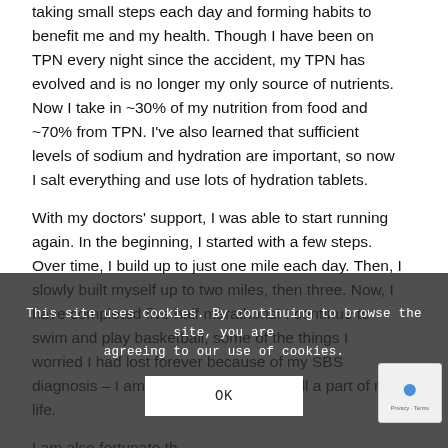taking small steps each day and forming habits to benefit me and my health. Though I have been on TPN every night since the accident, my TPN has evolved and is no longer my only source of nutrients. Now I take in ~30% of my nutrition from food and ~70% from TPN. I've also learned that sufficient levels of sodium and hydration are important, so now I salt everything and use lots of hydration tablets.
With my doctors' support, I was able to start running again. In the beginning, I started with a few steps. Over time, I build up to just one mile each day. Then, I slowly built myself up to two miles, then three. Now, I have completed five half marathons! I continue to swim and play basketball, some of the things I worried I had lost forever because of my SBS diagnosis – I am so grateful they are still a part of my life.
I am also fortunate that my workplace includes a
This site uses cookies. By continuing to browse the site, you are agreeing to our use of cookies.